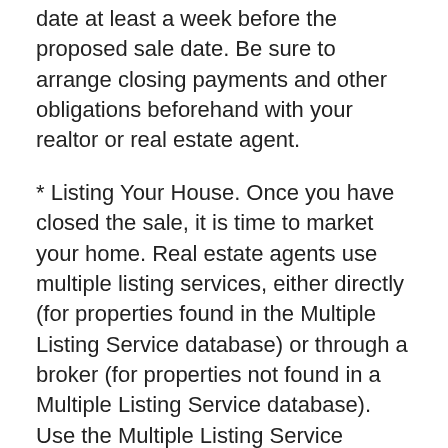date at least a week before the proposed sale date. Be sure to arrange closing payments and other obligations beforehand with your realtor or real estate agent.
* Listing Your House. Once you have closed the sale, it is time to market your home. Real estate agents use multiple listing services, either directly (for properties found in the Multiple Listing Service database) or through a broker (for properties not found in a Multiple Listing Service database). Use the Multiple Listing Service database to locate the property you think may be suitable for sale; note any special assessments, such as city and neighborhood economic factors, that could make your home sale faster.
These are just some of the many strategies you can use when selling a house fast. Be sure to consider